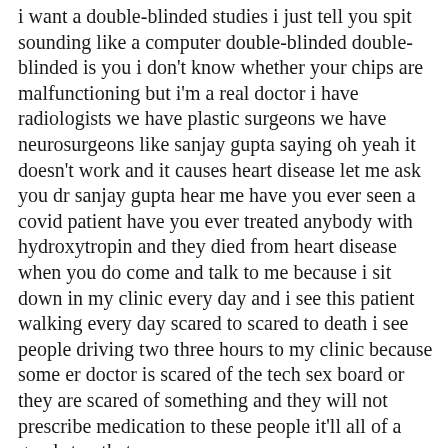i want a double-blinded studies i just tell you spit sounding like a computer double-blinded double-blinded is you i don't know whether your chips are malfunctioning but i'm a real doctor i have radiologists we have plastic surgeons we have neurosurgeons like sanjay gupta saying oh yeah it doesn't work and it causes heart disease let me ask you dr sanjay gupta hear me have you ever seen a covid patient have you ever treated anybody with hydroxytropin and they died from heart disease when you do come and talk to me because i sit down in my clinic every day and i see this patient walking every day scared to scared to death i see people driving two three hours to my clinic because some er doctor is scared of the tech sex board or they are scared of something and they will not prescribe medication to these people it'll all of a good stop that